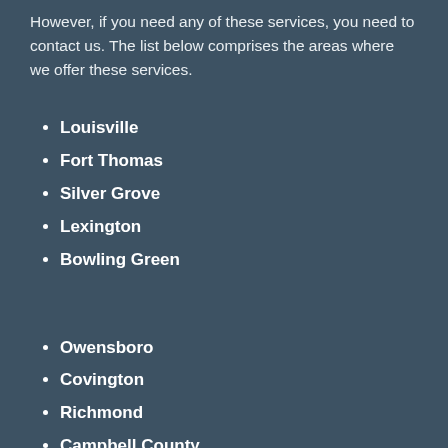However, if you need any of these services, you need to contact us. The list below comprises the areas where we offer these services.
Louisville
Fort Thomas
Silver Grove
Lexington
Bowling Green
Owensboro
Covington
Richmond
Campbell County